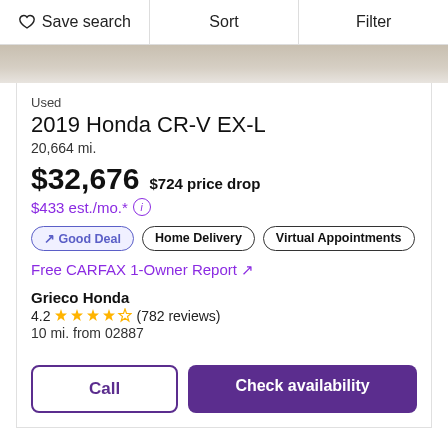Save search | Sort | Filter
[Figure (photo): Partial car image strip showing the top portion of a vehicle listing photo]
Used
2019 Honda CR-V EX-L
20,664 mi.
$32,676  $724 price drop
$433 est./mo.* ⓘ
↗ Good Deal | Home Delivery | Virtual Appointments
Free CARFAX 1-Owner Report ↗
Grieco Honda
4.2 ★★★★☆ (782 reviews)
10 mi. from 02887
Call | Check availability